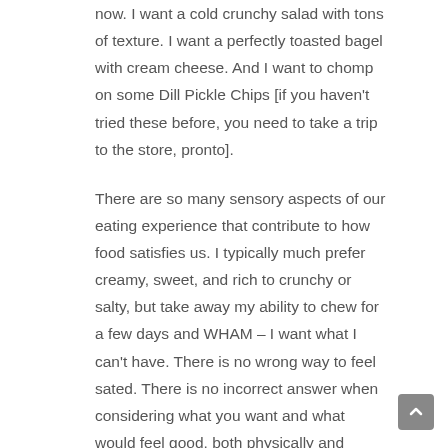now. I want a cold crunchy salad with tons of texture. I want a perfectly toasted bagel with cream cheese. And I want to chomp on some Dill Pickle Chips [if you haven't tried these before, you need to take a trip to the store, pronto].
There are so many sensory aspects of our eating experience that contribute to how food satisfies us. I typically much prefer creamy, sweet, and rich to crunchy or salty, but take away my ability to chew for a few days and WHAM – I want what I can't have. There is no wrong way to feel sated. There is no incorrect answer when considering what you want and what would feel good, both physically and mentally. Instead of comparing things like nutrients, calories, or points, try considering your preference for texture, aroma, taste, staying power [how much do you feel